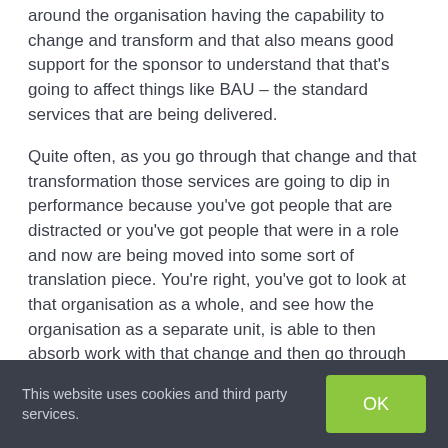around the organisation having the capability to change and transform and that also means good support for the sponsor to understand that that's going to affect things like BAU – the standard services that are being delivered.
Quite often, as you go through that change and that transformation those services are going to dip in performance because you've got people that are distracted or you've got people that were in a role and now are being moved into some sort of translation piece. You're right, you've got to look at that organisation as a whole, and see how the organisation as a separate unit, is able to then absorb work with that change and then go through that transformation.
Sharon Bridgland-Gough: Actually what we're there to do. Where we're going to play, how we're going to win, cut targets and target partners but
This website uses cookies and third party services.